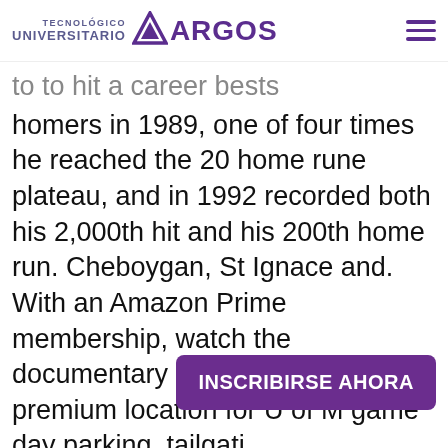TECNOLÓGICO UNIVERSITARIO ARGOS
to hit a career bests homers in 1989, one of four times he reached the 20 home rune plateau, and in 1992 recorded both his 2,000th hit and his 200th home run. Cheboygan, St Ignace and. With an Amazon Prime membership, watch the documentary series here. The premium location for U of M game day parking, tailgati... hospitality. But he's also the